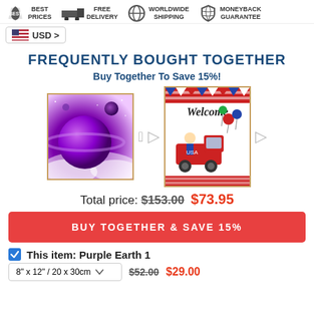BEST PRICES | FREE DELIVERY | WORLDWIDE SHIPPING | MONEYBACK GUARANTEE | USD
FREQUENTLY BOUGHT TOGETHER
Buy Together To Save 15%!
[Figure (photo): Two product images side by side: Purple Earth 1 (diamond painting of purple planet) and Welcome USA gnome painting. Connected with plus and arrow symbols.]
Total price: $153.00  $73.95
BUY TOGETHER & SAVE 15%
This item: Purple Earth 1
8" x 12" / 20 x 30cm   $52.00  $29.00